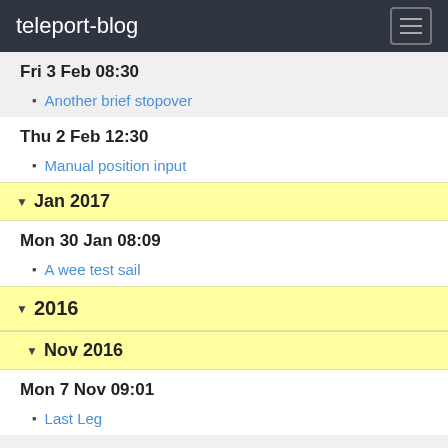teleport-blog
Fri 3 Feb 08:30
Another brief stopover
Thu 2 Feb 12:30
Manual position input
Jan 2017
Mon 30 Jan 08:09
A wee test sail
2016
Nov 2016
Mon 7 Nov 09:01
Last Leg
Sun 6 Nov 12:28
Bonfire Night
Sat 5 Nov 19:55
Saturday evening